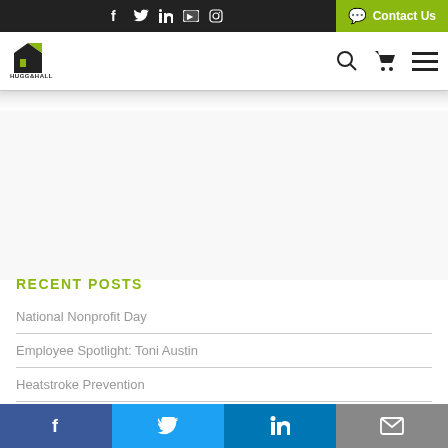Hugg & Hall website header with social icons and Contact Us button
[Figure (logo): Hugg & Hall logo — stylized building/flag icon in black and green with HUGG&HALL text below]
RECENT POSTS
National Nonprofit Day
Employee Spotlight: Toni Austin
Heatstroke Prevention
Employee Spotlight: Jim Hancock
Social share bar: Facebook, Twitter, LinkedIn, Email